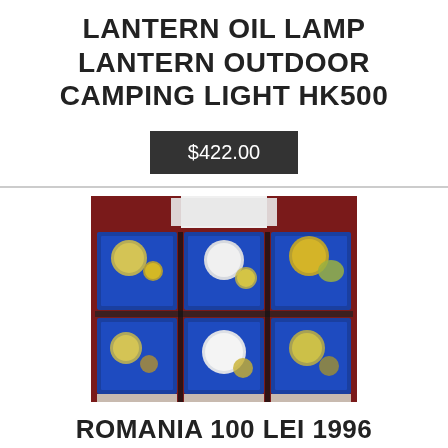LANTERN OIL LAMP LANTERN OUTDOOR CAMPING LIGHT HK500
$422.00
[Figure (photo): Photograph of six blue-velvet coin display boxes arranged in a 2×3 grid, each containing multiple commemorative coins of various sizes, set against a dark red cabinet background.]
ROMANIA 100 LEI 1996 OLYMPIC